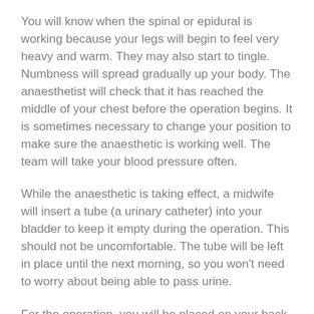You will know when the spinal or epidural is working because your legs will begin to feel very heavy and warm. They may also start to tingle. Numbness will spread gradually up your body. The anaesthetist will check that it has reached the middle of your chest before the operation begins. It is sometimes necessary to change your position to make sure the anaesthetic is working well. The team will take your blood pressure often.
While the anaesthetic is taking effect, a midwife will insert a tube (a urinary catheter) into your bladder to keep it empty during the operation. This should not be uncomfortable. The tube will be left in place until the next morning, so you won’t need to worry about being able to pass urine.
For the operation, you will be placed on your back, and tilted to the left. If you feel sick at any time, you should